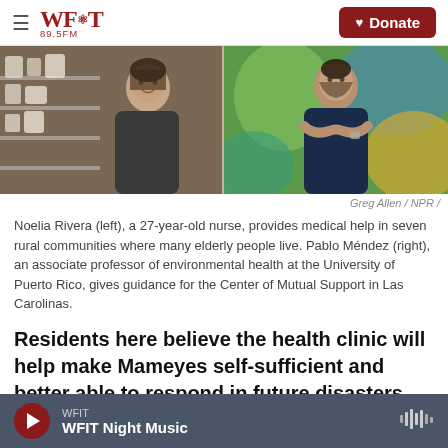WFIT 89.5FM — Donate
[Figure (photo): Two-panel photo: left shows Noelia Rivera, a young woman in dark scrubs standing in front of shelves with medical supplies, smiling at camera. Right shows Pablo Méndez, a man with crossed arms wearing a navy polo shirt, standing in front of a colorful mural.]
Greg Allen / NPR /
Noelia Rivera (left), a 27-year-old nurse, provides medical help in seven rural communities where many elderly people live. Pablo Méndez (right), an associate professor of environmental health at the University of Puerto Rico, gives guidance for the Center of Mutual Support in Las Carolinas.
Residents here believe the health clinic will help make Mameyes self-sufficient and better able to respond in future disasters.
WFIT — WFIT Night Music